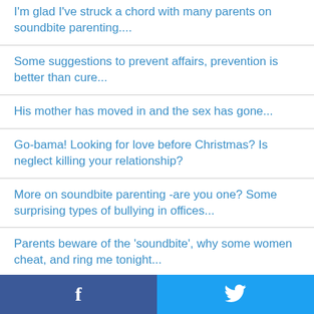I'm glad I've struck a chord with many parents on soundbite parenting....
Some suggestions to prevent affairs, prevention is better than cure...
His mother has moved in and the sex has gone...
Go-bama! Looking for love before Christmas? Is neglect killing your relationship?
More on soundbite parenting -are you one? Some surprising types of bullying in offices...
Parents beware of the 'soundbite', why some women cheat, and ring me tonight...
f  Twitter